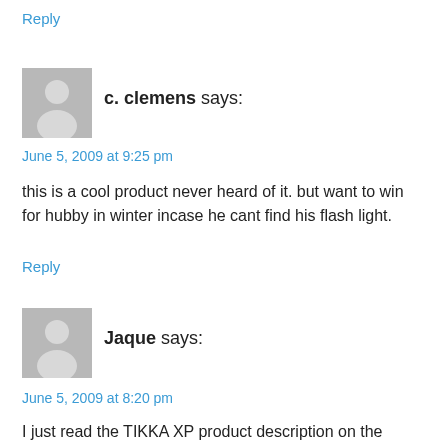Reply
[Figure (illustration): Generic user avatar silhouette on grey background]
c. clemens says:
June 5, 2009 at 9:25 pm
this is a cool product never heard of it. but want to win for hubby in winter incase he cant find his flash light.
Reply
[Figure (illustration): Generic user avatar silhouette on grey background]
Jaque says:
June 5, 2009 at 8:20 pm
I just read the TIKKA XP product description on the